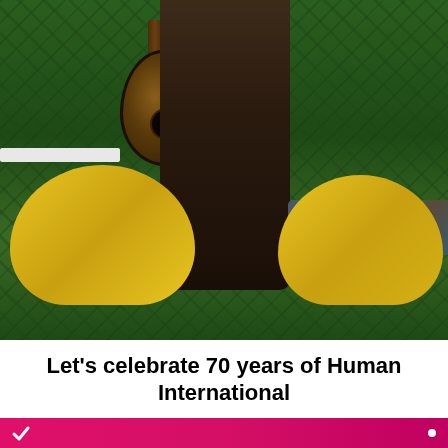[Figure (photo): A person holding an acoustic guitar (only the torso and guitar visible) standing in front of a lush green plant wall. Two yellow velvet chairs are visible in the foreground. A patterned bench/cushion is visible on the right side.]
Let’s celebrate 70 years of Human International
[Figure (photo): Bottom strip showing a pink/magenta bar partially visible at the bottom of the page.]